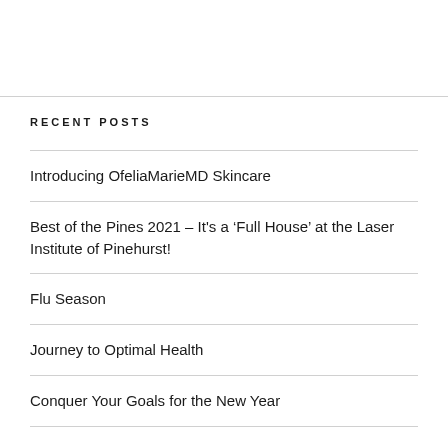RECENT POSTS
Introducing OfeliaMarieMD Skincare
Best of the Pines 2021 – It's a ‘Full House’ at the Laser Institute of Pinehurst!
Flu Season
Journey to Optimal Health
Conquer Your Goals for the New Year